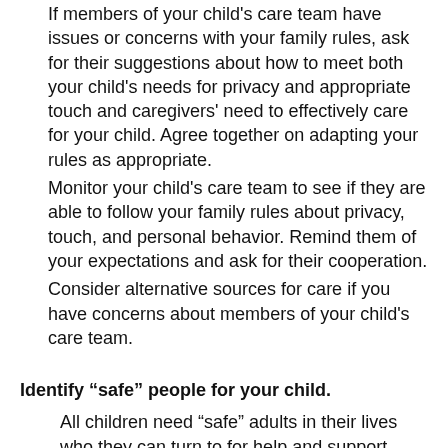If members of your child's care team have issues or concerns with your family rules, ask for their suggestions about how to meet both your child's needs for privacy and appropriate touch and caregivers' need to effectively care for your child. Agree together on adapting your rules as appropriate.
Monitor your child's care team to see if they are able to follow your family rules about privacy, touch, and personal behavior. Remind them of your expectations and ask for their cooperation.
Consider alternative sources for care if you have concerns about members of your child's care team.
Identify “safe” people for your child.
All children need “safe” adults in their lives who they can turn to for help and support. Work with your child to identify two or three